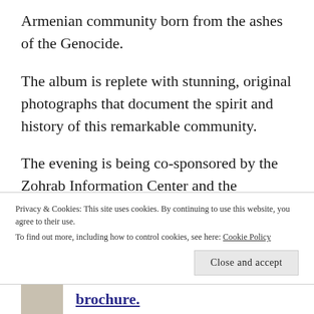Armenian community born from the ashes of the Genocide.
The album is replete with stunning, original photographs that document the spirit and history of this remarkable community.
The evening is being co-sponsored by the Zohrab Information Center and the Department of Armenian Studies of the Diocese, as well as AGBU Ararat. The event is free and open to the public. A wine and cheese
Privacy & Cookies: This site uses cookies. By continuing to use this website, you agree to their use.
To find out more, including how to control cookies, see here: Cookie Policy
Close and accept
brochure.